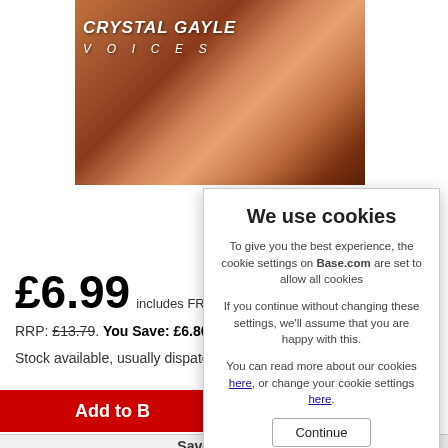[Figure (photo): Crystal Gayle album cover photo — woman with long flowing auburn hair, text 'CRYSTAL GAYLE' and subtitle visible]
£6.99 includes FREE U
RRP: £13.79. You Save: £6.80
Stock available, usually dispatc
Add to B
Save for Later
We use cookies
To give you the best experience, the cookie settings on Base.com are set to allow all cookies
If you continue without changing these settings, we'll assume that you are happy with this.
You can read more about our cookies here, or change your cookie settings here.
Continue